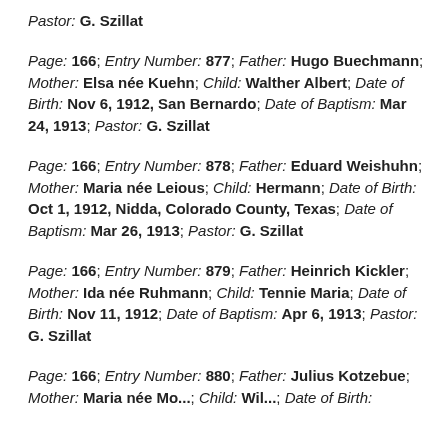Pastor: G. Szillat
Page: 166; Entry Number: 877; Father: Hugo Buechmann; Mother: Elsa née Kuehn; Child: Walther Albert; Date of Birth: Nov 6, 1912, San Bernardo; Date of Baptism: Mar 24, 1913; Pastor: G. Szillat
Page: 166; Entry Number: 878; Father: Eduard Weishuhn; Mother: Maria née Leious; Child: Hermann; Date of Birth: Oct 1, 1912, Nidda, Colorado County, Texas; Date of Baptism: Mar 26, 1913; Pastor: G. Szillat
Page: 166; Entry Number: 879; Father: Heinrich Kickler; Mother: Ida née Ruhmann; Child: Tennie Maria; Date of Birth: Nov 11, 1912; Date of Baptism: Apr 6, 1913; Pastor: G. Szillat
Page: 166; Entry Number: 880; Father: Julius Kotzebue; Mother: Maria née ...